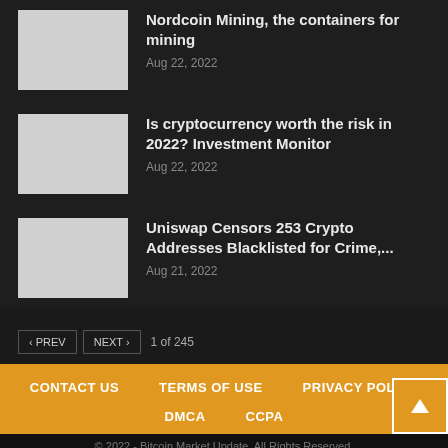Nordcoin Mining, the containers for mining
Aug 22, 2022
Is cryptocurrency worth the risk in 2022? Investment Monitor
Aug 22, 2022
Uniswap Censors 253 Crypto Addresses Blacklisted for Crime,...
Aug 21, 2022
1 of 245
CONTACT US   TERMS OF USE   PRIVACY POLICY   DMCA   CCPA
© 2022 - Bitcoin Market Update. All Rights Reserved.